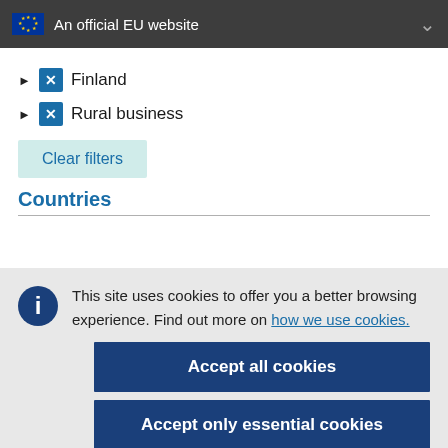An official EU website
Finland
Rural business
Clear filters
Countries
This site uses cookies to offer you a better browsing experience. Find out more on how we use cookies.
Accept all cookies
Accept only essential cookies